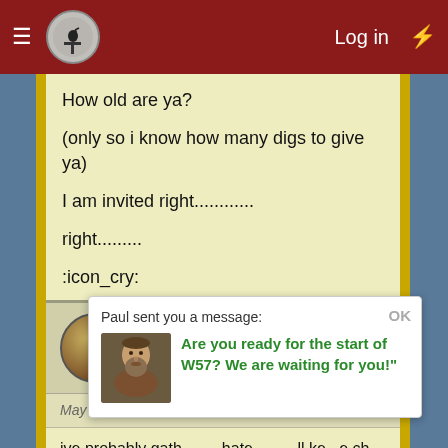Log in
How old are ya?

(only so i know how many digs to give ya)

I am invited right...........

right........

:icon_cry:
DeletedUser11220
Guest
May 12, 2013  #50
ive probably gath...  ...hate  ...ll ke...e cheers lo
DeletedUser4753
Guest
Paul sent you a message:
Are you ready for the start of W57? We are waiting for you!